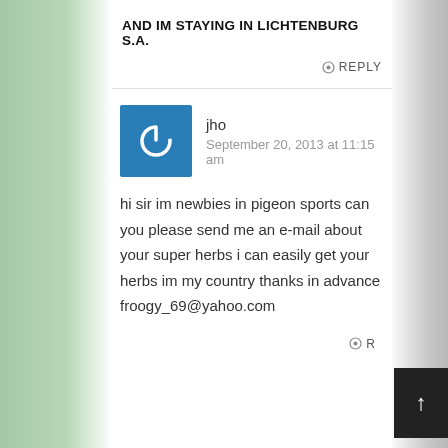AND IM STAYING IN LICHTENBURG S.A.
REPLY
jho
September 20, 2013 at 11:15 am
hi sir im newbies in pigeon sports can you please send me an e-mail about your super herbs i can easily get your herbs im my country thanks in advance froogy_69@yahoo.com
REPLY